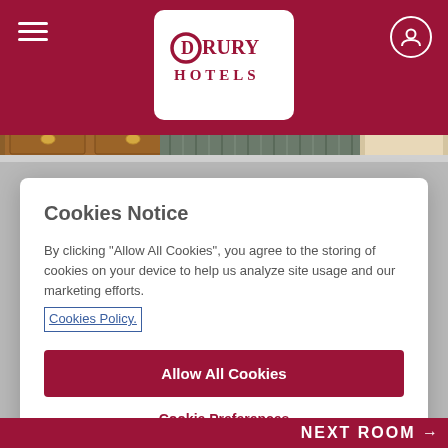Drury Hotels
[Figure (photo): Hotel room interior showing wooden dresser with drawers and striped carpet flooring]
Cookies Notice
By clicking "Allow All Cookies", you agree to the storing of cookies on your device to help us analyze site usage and our marketing efforts. Cookies Policy.
Allow All Cookies
Cookie Preferences
NEXT ROOM →